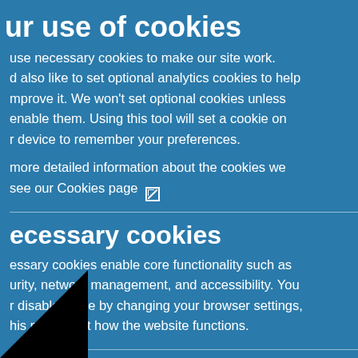nd Health e healthy, ms to help nd socially, es that are th learning n specific r activities earn about ns to be a ouraged to ve role in St John the ny of the e school's
ur use of cookies
use necessary cookies to make our site work. d also like to set optional analytics cookies to help mprove it. We won't set optional cookies unless enable them. Using this tool will set a cookie on r device to remember your preferences.
more detailed information about the cookies we see our Cookies page
ecessary cookies
essary cookies enable core functionality such as urity, network management, and accessibility. You r disable these by changing your browser settings, his may affect how the website functions.
ics cookies
[Figure (other): Toggle switch showing Off state for analytics cookies]